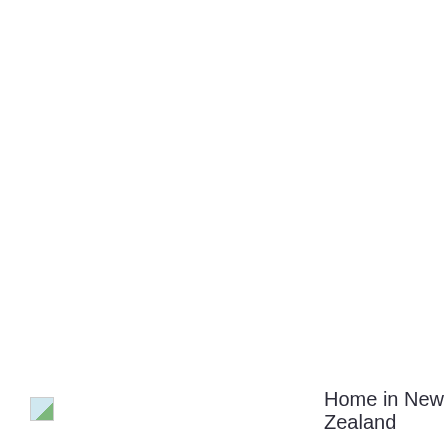[Figure (photo): Broken/missing image placeholder icon (small, bottom-left area)]
Home in New Zealand